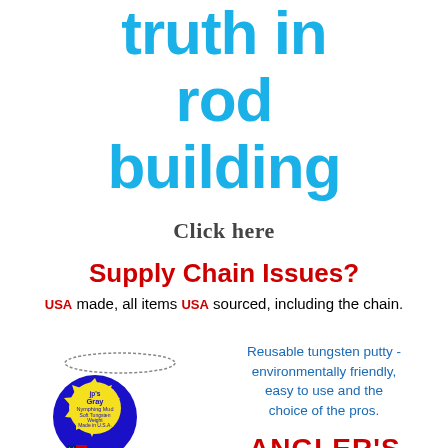truth in rod building
Click here
Supply Chain Issues?
USA made, all items USA sourced, including the chain.
[Figure (photo): jp's Gray Nymphing Mud product - blue circular container with yellow starburst label showing 'jp's Gray Nymphing Mud Soft Tungsten Weight Made in U.S.A.' with a chain attached, and a US flag at the bottom]
Reusable tungsten putty - environmentally friendly, easy to use and the choice of the pros.
[Figure (logo): ANGLER'S ACCESSORIES logo in red block letters with blue accent]